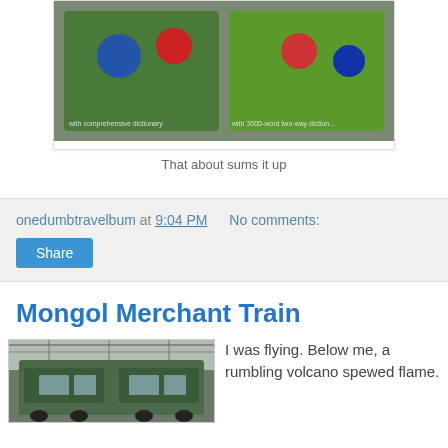[Figure (photo): Two illustrated/cartoon language learning books photographed on a surface, with colorful covers showing people and the text 'with comprehensive dictionary' and 'with 3500-word two-way dictionary']
That about sums it up
onedumbtravelbum at 9:04 PM    No comments:
Share
Mongol Merchant Train
[Figure (photo): A green electric locomotive train photographed at a station or rail yard, with overhead wires visible]
I was flying. Below me, a rumbling volcano spewed flame.